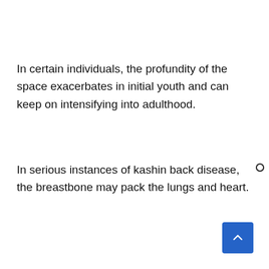In certain individuals, the profundity of the space exacerbates in initial youth and can keep on intensifying into adulthood.
In serious instances of kashin back disease, the breastbone may pack the lungs and heart.